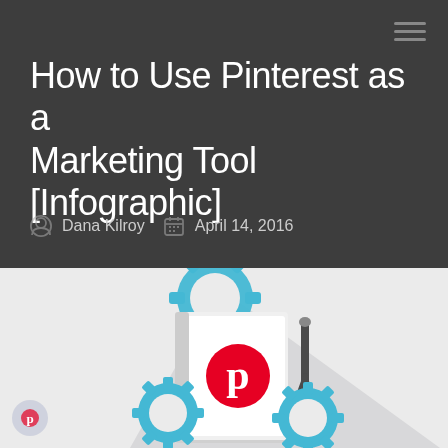How to Use Pinterest as a Marketing Tool [Infographic]
Dana Kilroy   April 14, 2016
[Figure (illustration): Flat design illustration showing a Pinterest logo (red circle with white P) on a notebook/booklet, with teal/blue gear icons and a compass/drafting tool, on a light grey background with a long shadow effect.]